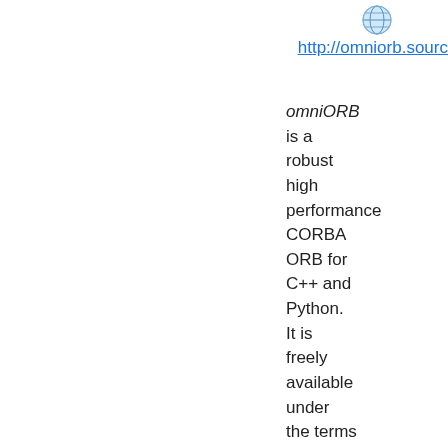[Figure (logo): Globe/world icon in blue and white]
http://omniorb.sourc
omniORB is a robust high performance CORBA ORB for C++ and Python. It is freely available under the terms of the GNU Lesser General Public